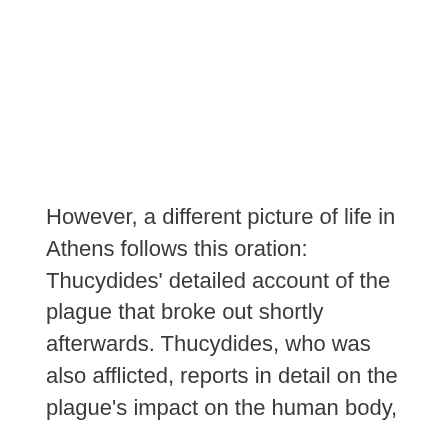However, a different picture of life in Athens follows this oration: Thucydides' detailed account of the plague that broke out shortly afterwards. Thucydides, who was also afflicted, reports in detail on the plague's impact on the human body,